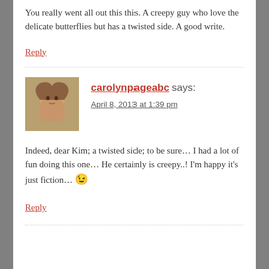You really went all out this this. A creepy guy who love the delicate butterflies but has a twisted side. A good write.
Reply
carolynpageabc says:
April 8, 2013 at 1:39 pm
Indeed, dear Kim; a twisted side; to be sure… I had a lot of fun doing this one… He certainly is creepy..! I'm happy it's just fiction… 😉
Reply